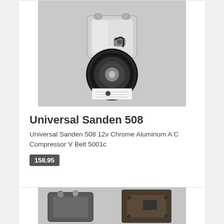[Figure (photo): Chrome aluminum AC compressor with black pulley/belt wheel at bottom, Sanden 508 style, shown against light gray background with a small label card at the bottom]
Universal Sanden 508
Universal Sanden 508 12v Chrome Aluminum A C Compressor V Belt 5001c
158.95
[Figure (photo): AC compressor component parts shown from back/side angle, dark metallic housing and bracket, against light gray background, partially visible (cropped)]